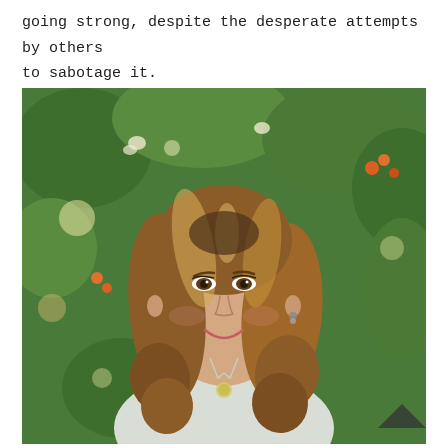going strong, despite the desperate attempts by others to sabotage it.
[Figure (photo): Portrait photo of a smiling woman with highlighted wavy brown-blonde hair, wearing a white blouse and a round pendant necklace, with green foliage and orange berries in the background.]